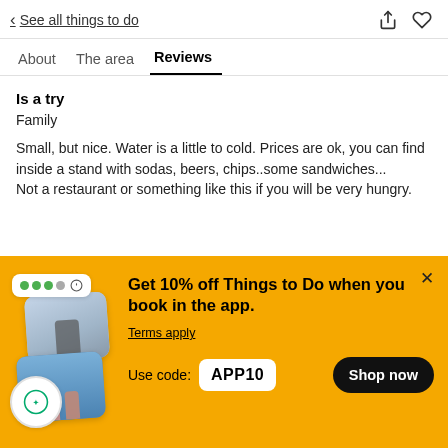< See all things to do
About  The area  Reviews
Is a try
Family
Small, but nice. Water is a little to cold. Prices are ok, you can find inside a stand with sodas, beers, chips..some sandwiches...
Not a restaurant or something like this if you will be very hungry.
[Figure (screenshot): Promotional banner with yellow background showing app discount offer. Images of activities, TripAdvisor badge, and UI card with green dots. Text: Get 10% off Things to Do when you book in the app. Terms apply. Use code: APP10. Shop now button.]